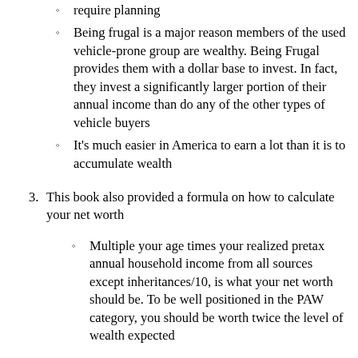require planning
Being frugal is a major reason members of the used vehicle-prone group are wealthy. Being Frugal provides them with a dollar base to invest. In fact, they invest a significantly larger portion of their annual income than do any of the other types of vehicle buyers
It's much easier in America to earn a lot than it is to accumulate wealth
3. This book also provided a formula on how to calculate your net worth
Multiple your age times your realized pretax annual household income from all sources except inheritances/10, is what your net worth should be. To be well positioned in the PAW category, you should be worth twice the level of wealth expected